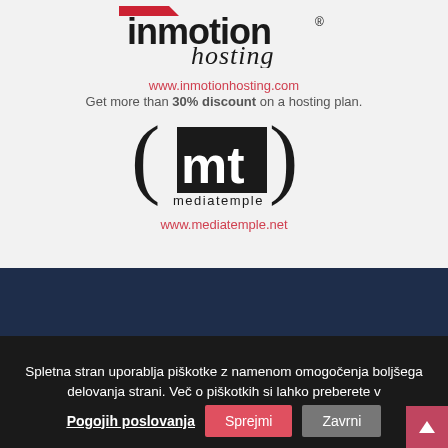[Figure (logo): InMotion Hosting logo — red and dark text logo showing 'inmotion hosting' brand name with registered trademark symbol]
www.inmotionhosting.com
Get more than 30% discount on a hosting plan.
[Figure (logo): (mt) mediatemple logo — black parentheses with 'mt' text inside and 'mediatemple' text below]
www.mediatemple.net
Spletna stran uporablja piškotke z namenom omogočenja boljšega delovanja strani. Več o piškotkih si lahko preberete v
Pogojih poslovanja   Sprejmi   Zavrni